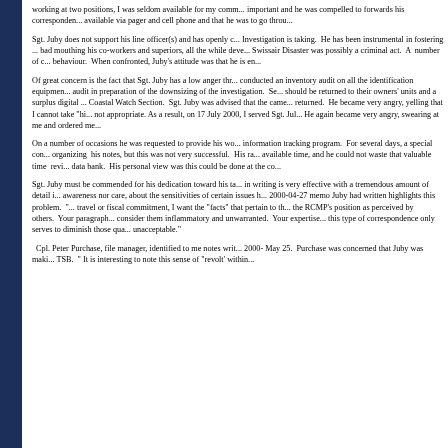working at two positions, I was seldom available for my comm... important and he was compelled to forwards his correspondence... available via pager and cell phone and that he was to go throu...
Sgt. Juby does not support his line officer(s) and has openly c... Investigation is taking. He has been instrumental in fostering ... bad mouthing his co-workers and superiors, all the while deve... Swissair Disaster was possibly a criminal act. A number of c... behaviour. When confronted, Juby's attitude was that he is en...
Of great concern is the fact that Sgt. Juby has a low anger thr... conducted an inventory audit on all the identification equipmen... audit in preparation of the downsizing of the investigation. Se... should be returned to their owners' units and a surplus digital ... Coastal Watch Section. Sgt. Juby was advised that the came... returned. He became very angry, yelling that I cannot take "hi... not appropriate. As a result, on 17 July 2000, I served Sgt. Jul... He again became very angry, swearing at me and ordered me...
On a number of occasions he was requested to provide his wo... information tracking program. For several days, a special con... organizing his notes, but this was not very successful. His ra... available time, and he could not waste that valuable time revi... data bank. His personal view was this could be done at the co...
Sgt. Juby must be commended for his dedication toward his ta... in writing is very effective with a tremendous amount of detail i... awareness nor care, about the sensitivities of certain issues h... 2000-04-27 memo Juby had written highlights this problem. "... travel or fiscal commitment, I want the "facts" that pertain to th... the RCMP's position as perceived by others. Your paragraph... consider them inflammatory and unwarranted. Your expertise... this type of correspondence only serves to diminish those qua... unacceptable."
Cpl. Peter Purchase, file manager, identified to me notes writ... 2000- May 25. Purchase was concerned that Juby was maki... TSB. " It is interesting to note this sense of "revolt' within...